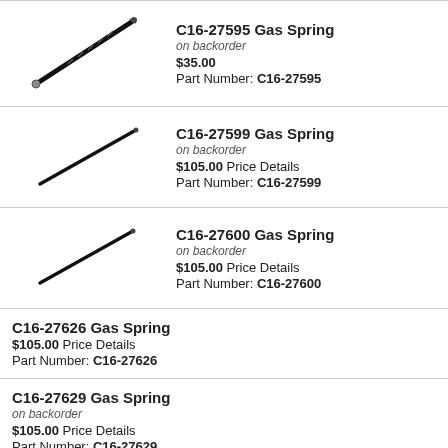[Figure (photo): Gas spring product image, diagonal orientation, C16-27595]
C16-27595 Gas Spring
on backorder
$35.00
Part Number: C16-27595
[Figure (photo): Gas spring product image, diagonal orientation, C16-27599]
C16-27599 Gas Spring
on backorder
$105.00 Price Details
Part Number: C16-27599
[Figure (photo): Gas spring product image, diagonal orientation, C16-27600]
C16-27600 Gas Spring
on backorder
$105.00 Price Details
Part Number: C16-27600
C16-27626 Gas Spring
$105.00 Price Details
Part Number: C16-27626
C16-27629 Gas Spring
on backorder
$105.00 Price Details
Part Number: C16-27629